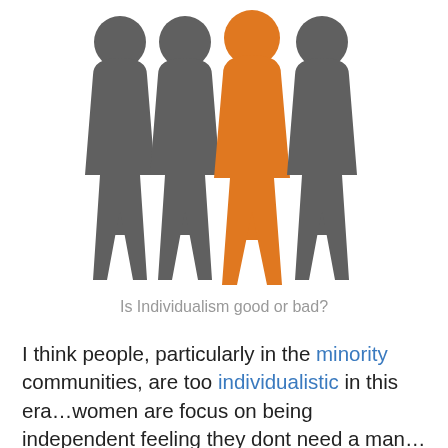[Figure (infographic): Four human silhouette figures standing side by side; three are gray and one (third from left) is orange, illustrating the concept of individualism — one standing out from the group.]
Is Individualism good or bad?
I think people, particularly in the minority communities, are too individualistic in this era…women are focus on being independent feeling they dont need a man… This maybe true financial but there is something that happens when you put a masculine and femminine together in a team setting and its called balance. Men are forgetting where they should be in the family unit.It seem that having a family is not on many men life goals.  Let take African Americans, as whole I think we are starting to believe the stigmas that are place on us so we dont trust each